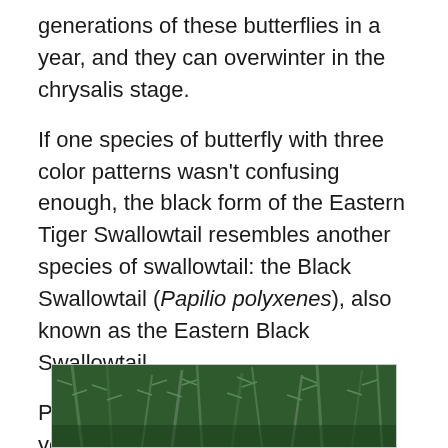generations of these butterflies in a year, and they can overwinter in the chrysalis stage.
If one species of butterfly with three color patterns wasn't confusing enough, the black form of the Eastern Tiger Swallowtail resembles another species of swallowtail: the Black Swallowtail (Papilio polyxenes), also known as the Eastern Black Swallowtail.
Patterned with blue, orange, and yellow, male and female Black Swallowtails' wings look similar from the underside.
[Figure (photo): Partial photo of green plant stems/foliage, appears to be rosemary or similar plant with thin needle-like leaves, dark green color.]